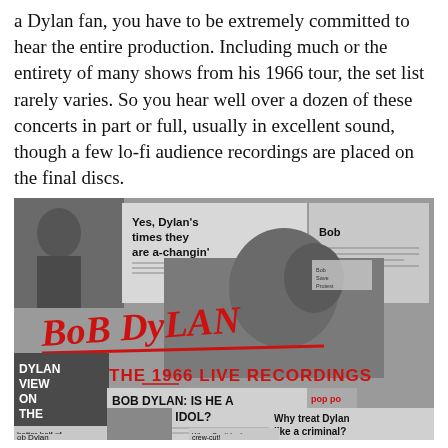a Dylan fan, you have to be extremely committed to hear the entire production. Including much or the entirety of many shows from his 1966 tour, the set list rarely varies. So you hear well over a dozen of these concerts in part or full, usually in excellent sound, though a few lo-fi audience recordings are placed on the final discs.
[Figure (photo): Album cover for Bob Dylan: The 1966 Live Recordings. A black and white collage of newspaper clippings with headlines including 'Yes, Dylan's times they are a-changin'', 'BOB DYLAN: IS HE A SMASHED IDOL?', 'Why treat Dylan like a criminal?', 'better half of ob Dylan', 'When Scott had a crew-cut!', 'DYLAN VIEW ON THE BIG BOO'. Overlaid in red handwritten script is 'BOB DYLAN' and below it 'THE 1966 LIVE RECORDINGS'.]